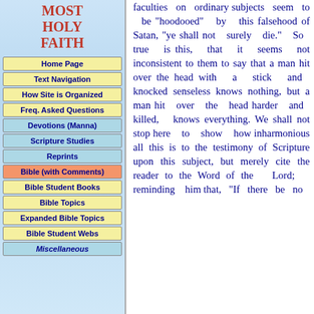MOST HOLY FAITH
Home Page
Text Navigation
How Site is Organized
Freq. Asked Questions
Devotions (Manna)
Scripture Studies
Reprints
Bible (with Comments)
Bible Student Books
Bible Topics
Expanded Bible Topics
Bible Student Webs
Miscellaneous
faculties on ordinary subjects seem to be "hoodooed" by this falsehood of Satan, "ye shall not surely die." So true is this, that it seems not inconsistent to them to say that a man hit over the head with a stick and knocked senseless knows nothing, but a man hit over the head harder and killed, knows everything. We shall not stop here to show how inharmonious all this is to the testimony of Scripture upon this subject, but merely cite the reader to the Word of the Lord; reminding him that, "If there be no